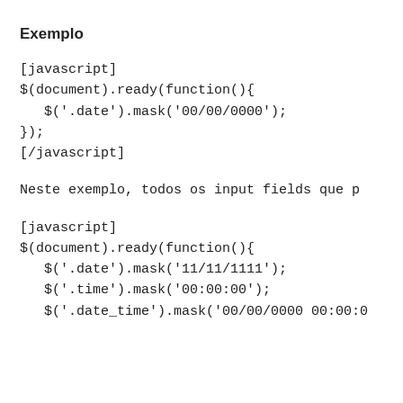Exemplo
[javascript]
$(document).ready(function(){
   $('.date').mask('00/00/0000');
});
[/javascript]
Neste exemplo, todos os input fields que p
[javascript]
$(document).ready(function(){
   $('.date').mask('11/11/1111');
   $('.time').mask('00:00:00');
   $('.date_time').mask('00/00/0000 00:00:0